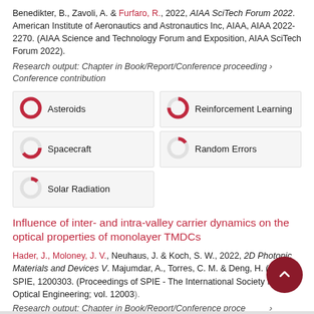Benedikter, B., Zavoli, A. & Furfaro, R., 2022, AIAA SciTech Forum 2022. American Institute of Aeronautics and Astronautics Inc, AIAA, AIAA 2022-2270. (AIAA Science and Technology Forum and Exposition, AIAA SciTech Forum 2022).
Research output: Chapter in Book/Report/Conference proceeding › Conference contribution
[Figure (infographic): Keyword badges with donut chart progress indicators: Asteroids (~100%), Reinforcement Learning (~75%), Spacecraft (~65%), Random Errors (~15%), Solar Radiation (~12%)]
Influence of inter- and intra-valley carrier dynamics on the optical properties of monolayer TMDCs
Hader, J., Moloney, J. V., Neuhaus, J. & Koch, S. W., 2022, 2D Photonic Materials and Devices V. Majumdar, A., Torres, C. M. & Deng, H. (eds.). SPIE, 1200303. (Proceedings of SPIE - The International Society for Optical Engineering; vol. 12003).
Research output: Chapter in Book/Report/Conference proceeding › Conference contribution